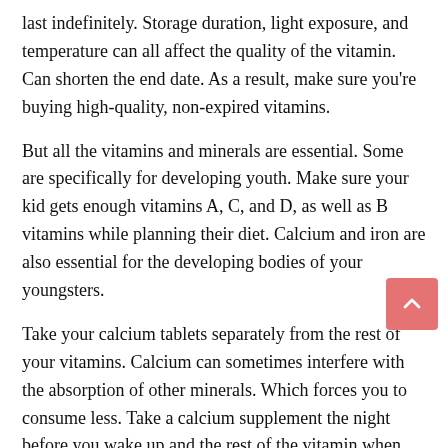last indefinitely. Storage duration, light exposure, and temperature can all affect the quality of the vitamin. Can shorten the end date. As a result, make sure you're buying high-quality, non-expired vitamins.
But all the vitamins and minerals are essential. Some are specifically for developing youth. Make sure your kid gets enough vitamins A, C, and D, as well as B vitamins while planning their diet. Calcium and iron are also essential for the developing bodies of your youngsters.
Take your calcium tablets separately from the rest of your vitamins. Calcium can sometimes interfere with the absorption of other minerals. Which forces you to consume less. Take a calcium supplement the night before you wake up and the rest of the vitamin when you wake up.
Have you ever convinced yourself that since you never get sick? That's why you don't need vitamins and minerals. You still need them, as they not only help fight illness but also relieve symptoms of stress. Which is something